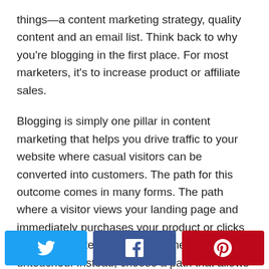things—a content marketing strategy, quality content and an email list. Think back to why you're blogging in the first place. For most marketers, it's to increase product or affiliate sales.
Blogging is simply one pillar in content marketing that helps you drive traffic to your website where casual visitors can be converted into customers. The path for this outcome comes in many forms. The path where a visitor views your landing page and immediately purchases your product or clicks on your affiliate link is thin and nearly untouched. Instead, choose a path that allows you to encourage these visitors to subscribe to an email
[Figure (infographic): Social sharing buttons: Twitter (blue), Facebook (dark blue), Pinterest (red)]